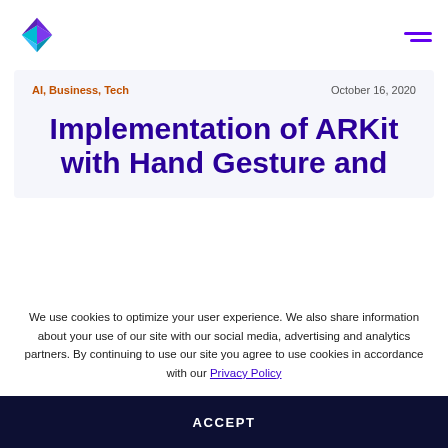[Figure (logo): Cubic/geometric logo made of purple and cyan facets]
Implementation of ARKit with Hand Gesture and
AI, Business, Tech
October 16, 2020
We use cookies to optimize your user experience. We also share information about your use of our site with our social media, advertising and analytics partners. By continuing to use our site you agree to use cookies in accordance with our Privacy Policy
ACCEPT